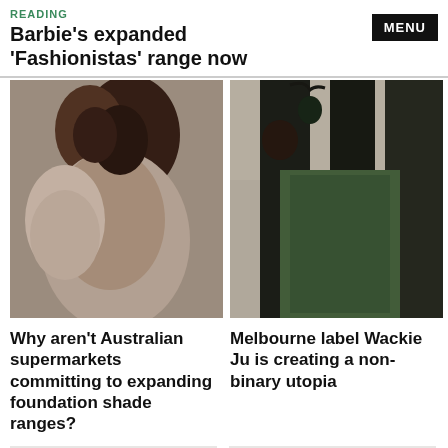READING
Barbie's expanded 'Fashionistas' range now
[Figure (photo): Two people lying down, one with dark skin and dark hair, one with light skin and dark hair with blue eyes, close-up portrait]
[Figure (photo): Fashion photo of person wearing black bikini top with flower detail and green pants with black lace overlay]
Why aren't Australian supermarkets committing to expanding foundation shade ranges?
Melbourne label Wackie Ju is creating a non-binary utopia